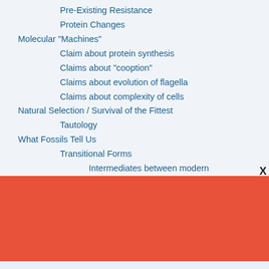Pre-Existing Resistance
Protein Changes
Molecular "Machines"
Claim about protein synthesis
Claims about "cooption"
Claims about evolution of flagella
Claims about complexity of cells
Natural Selection / Survival of the Fittest
Tautology
What Fossils Tell Us
Transitional Forms
Intermediates between modern
[Figure (other): Red/orange banner section]
Support climate change
f  [Twitter]  in  [email]